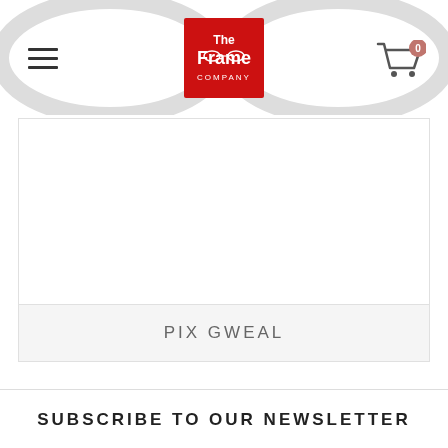[Figure (logo): The Frame Company logo — red square with white text 'The Frame COMPANY' with glasses graphic]
[Figure (photo): Large eyeglasses frame shown in white/light color against white background, top portion cropped]
[Figure (photo): Product card with white background showing eyewear product]
PIX GWEAL
SUBSCRIBE TO OUR NEWSLETTER